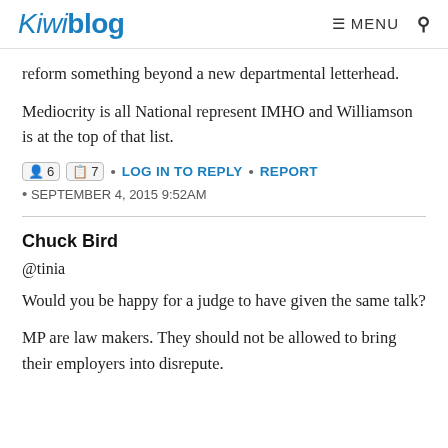Kiwiblog   ≡ MENU  🔍
reform something beyond a new departmental letterhead.
Mediocrity is all National represent IMHO and Williamson is at the top of that list.
6  7  •  LOG IN TO REPLY  •  REPORT
•  SEPTEMBER 4, 2015 9:52AM
Chuck Bird
@tinia
Would you be happy for a judge to have given the same talk?
MP are law makers. They should not be allowed to bring their employers into disrepute.